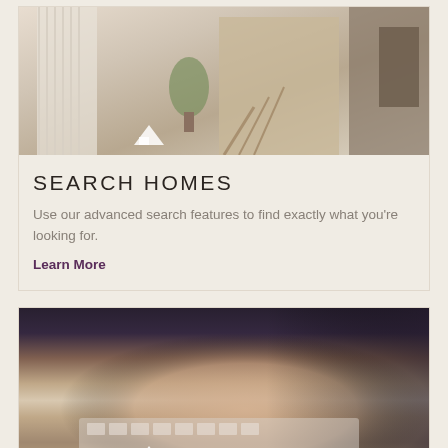[Figure (photo): Interior of a home showing a staircase, plants, and hallway]
SEARCH HOMES
Use our advanced search features to find exactly what you're looking for.
Learn More
[Figure (photo): Person typing on a keyboard, close-up of hands with a ring]
BUYERS
Check our home buyer's guide and tools.